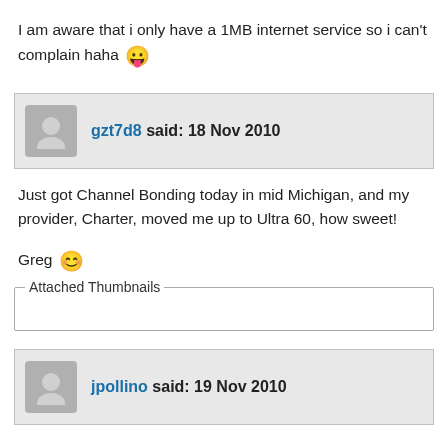I am aware that i only have a 1MB internet service so i can't complain haha 😛
gzt7d8 said: 18 Nov 2010
Just got Channel Bonding today in mid Michigan, and my provider, Charter, moved me up to Ultra 60, how sweet!
Greg 😊
Attached Thumbnails
jpollino said: 19 Nov 2010